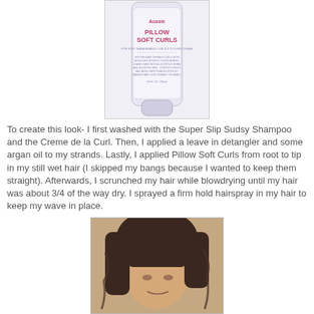[Figure (photo): Product photo of a tube of Pillow Soft Curls hair styling cream with pink label text on white/lavender tube]
To create this look- I first washed with the Super Slip Sudsy Shampoo and the Creme de la Curl.  Then, I applied a leave in detangler and some argan oil to my strands.  Lastly, I applied Pillow Soft Curls from root to tip in my still wet hair (I skipped my bangs because I wanted to keep them straight).  Afterwards, I scrunched my hair while blowdrying until my hair was about 3/4 of the way dry.  I sprayed a firm hold hairspray in my hair to keep my wave in place.
[Figure (photo): Photo of a person with dark wavy hair with bangs, viewed from a slight angle]